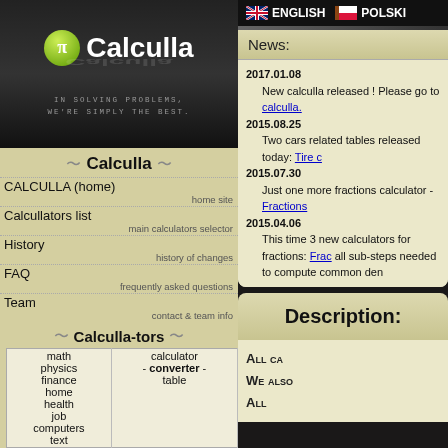[Figure (logo): Calculla logo with pi symbol in green circle and white text on dark background]
IN SOLVING PROBLEMS, WE'RE SIMPLY THE BEST.
Calculla
CALCULLA (home)
home site
Calcullators list
main calculators selector
History
history of changes
FAQ
frequently asked questions
Team
contact & team info
Calculla-tors
| math
physics
finance
home
health
job
computers
text | calculator
- converter -
table |
ENGLISH  POLSKI
News:
2017.01.08
    New calculla released ! Please go to calculla.
2015.08.25
    Two cars related tables released today: Tire c
2015.07.30
    Just one more fractions calculator - Fractions
2015.04.06
    This time 3 new calculators for fractions: Frac all sub-steps needed to compute common den
Description:
ALL CA
WE ALSO
ALL